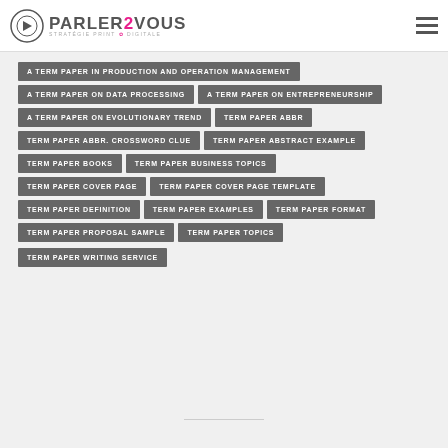PARLER2VOUS STRATÉGIE PRINT & DIGITALE
A TERM PAPER IN PRODUCTION AND OPERATION MANAGEMENT
A TERM PAPER ON DATA PROCESSING
A TERM PAPER ON ENTREPRENEURSHIP
A TERM PAPER ON EVOLUTIONARY TREND
TERM PAPER ABBR
TERM PAPER ABBR. CROSSWORD CLUE
TERM PAPER ABSTRACT EXAMPLE
TERM PAPER BOOKS
TERM PAPER BUSINESS TOPICS
TERM PAPER COVER PAGE
TERM PAPER COVER PAGE TEMPLATE
TERM PAPER DEFINITION
TERM PAPER EXAMPLES
TERM PAPER FORMAT
TERM PAPER PROPOSAL SAMPLE
TERM PAPER TOPICS
TERM PAPER WRITING SERVICE